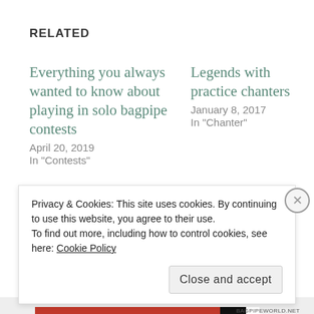RELATED
Everything you always wanted to know about playing in solo bagpipe contests
April 20, 2019
In "Contests"
Legends with practice chanters
January 8, 2017
In "Chanter"
The All Important Up-beat
March 26, 2016
Privacy & Cookies: This site uses cookies. By continuing to use this website, you agree to their use.
To find out more, including how to control cookies, see here: Cookie Policy
Close and accept